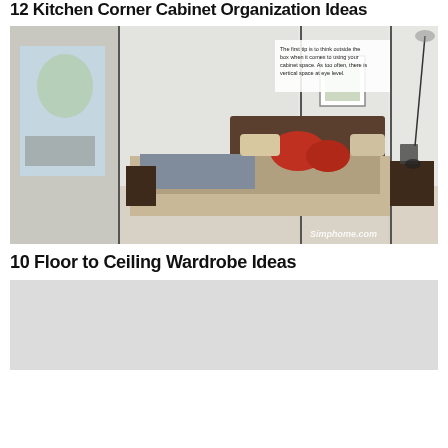12 Kitchen Corner Cabinet Organization Ideas
[Figure (photo): Bedroom with floor-to-ceiling mirrored wardrobe doors reflecting the room; bed with red pillows and brown headboard, dark wood bedside tables, framed art on wall. Watermark: Simphome.com. Tooltip box with small text about using cabinet space.]
10 Floor to Ceiling Wardrobe Ideas
[Figure (photo): Partially visible second image, light grey/white, appears to be another interior room photo, cropped at bottom of page.]